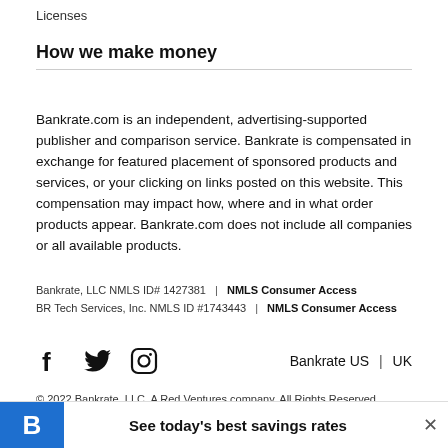Licenses
How we make money
Bankrate.com is an independent, advertising-supported publisher and comparison service. Bankrate is compensated in exchange for featured placement of sponsored products and services, or your clicking on links posted on this website. This compensation may impact how, where and in what order products appear. Bankrate.com does not include all companies or all available products.
Bankrate, LLC NMLS ID# 1427381 | NMLS Consumer Access
BR Tech Services, Inc. NMLS ID #1743443 | NMLS Consumer Access
[Figure (logo): Social media icons: Facebook, Twitter, Instagram]
Bankrate US | UK
© 2022 Bankrate, LLC. A Red Ventures company. All Rights Reserved.
[Figure (illustration): Bottom banner with Bankrate blue logo B and text: See today's best savings rates, with close X button]